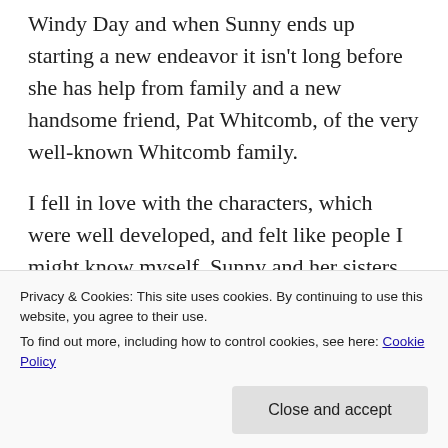Windy Day and when Sunny ends up starting a new endeavor it isn't long before she has help from family and a new handsome friend, Pat Whitcomb, of the very well-known Whitcomb family.
I fell in love with the characters, which were well developed, and felt like people I might know myself. Sunny and her sisters supported each other through each trial, showing a close-knit family, but not one without flaws and heartache. There isn't a large focus on the heartache, though,
Privacy & Cookies: This site uses cookies. By continuing to use this website, you agree to their use.
To find out more, including how to control cookies, see here: Cookie Policy
Close and accept